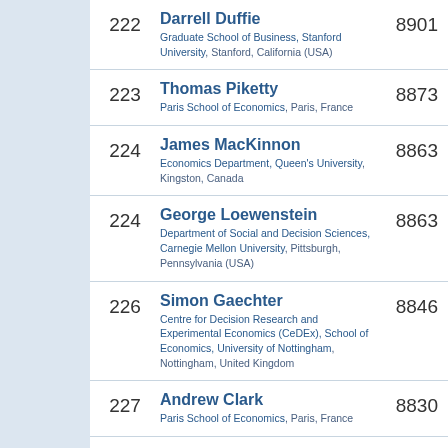222 Darrell Duffie, Graduate School of Business, Stanford University, Stanford, California (USA), 8901
223 Thomas Piketty, Paris School of Economics, Paris, France, 8873
224 James MacKinnon, Economics Department, Queen's University, Kingston, Canada, 8863
224 George Loewenstein, Department of Social and Decision Sciences, Carnegie Mellon University, Pittsburgh, Pennsylvania (USA), 8863
226 Simon Gaechter, Centre for Decision Research and Experimental Economics (CeDEx), School of Economics, University of Nottingham, Nottingham, United Kingdom, 8846
227 Andrew Clark, Paris School of Economics, Paris, France, 8830
228 Giovanni Dosi, Laboratory of Economics and Management (LEM), 8792